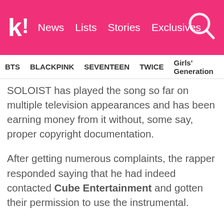Koreaboo | News | Lists | Stories | Exclusives
BTS | BLACKPINK | SEVENTEEN | TWICE | Girls' Generation
SOLOIST has played the song so far on multiple television appearances and has been earning money from it without, some say, proper copyright documentation.
After getting numerous complaints, the rapper responded saying that he had indeed contacted Cube Entertainment and gotten their permission to use the instrumental.